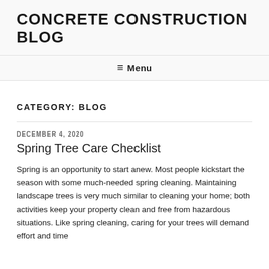CONCRETE CONSTRUCTION BLOG
≡ Menu
CATEGORY: BLOG
DECEMBER 4, 2020
Spring Tree Care Checklist
Spring is an opportunity to start anew. Most people kickstart the season with some much-needed spring cleaning. Maintaining landscape trees is very much similar to cleaning your home; both activities keep your property clean and free from hazardous situations. Like spring cleaning, caring for your trees will demand effort and time